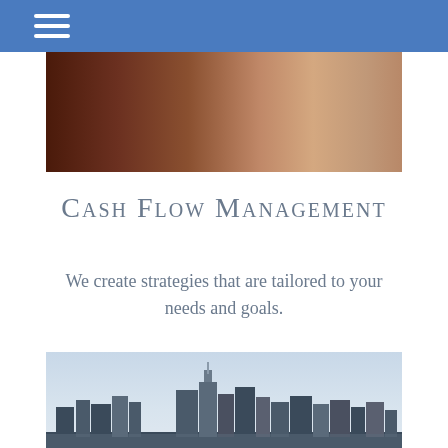Navigation bar with hamburger menu
[Figure (photo): Close-up photo of a hand near a dark wooden surface, possibly a briefcase or desk, with reflective highlights]
Cash Flow Management
We create strategies that are tailored to your needs and goals.
[Figure (photo): City skyline photo showing tall skyscrapers including what appears to be the Freedom Tower in New York City, against a light blue sky]